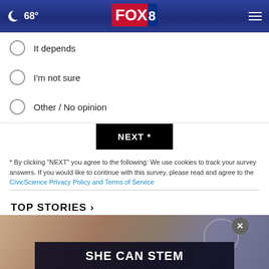68° FOX 8
It depends
I'm not sure
Other / No opinion
NEXT *
* By clicking "NEXT" you agree to the following: We use cookies to track your survey answers. If you would like to continue with this survey, please read and agree to the CivicScience Privacy Policy and Terms of Service
TOP STORIES ›
[Figure (photo): Close-up photo of a person's face partially visible, with a dark overlay advertisement banner reading 'SHE CAN STEM' and a circular close button.]